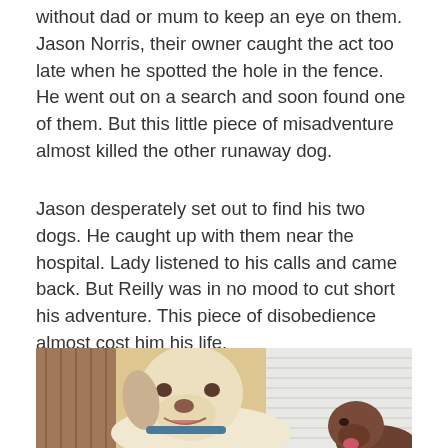without dad or mum to keep an eye on them. Jason Norris, their owner caught the act too late when he spotted the hole in the fence. He went out on a search and soon found one of them. But this little piece of misadventure almost killed the other runaway dog.
Jason desperately set out to find his two dogs. He caught up with them near the hospital. Lady listened to his calls and came back. But Reilly was in no mood to cut short his adventure. This piece of disobedience almost cost him his life.
[Figure (photo): Two dogs photographed outdoors near a house with white siding and wooden slats in the background. A large light-colored (cream/white) Labrador is prominent in the foreground with its mouth open, wearing a blue collar. A smaller darker brown dog is visible in the lower right corner. Warm sunlight illuminates the scene.]